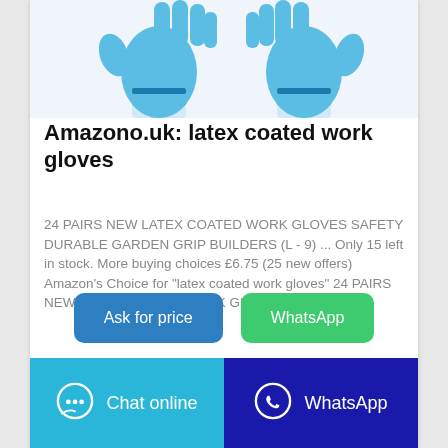[Figure (photo): Two blue latex work gloves shown from above on white background]
Amazono.uk: latex coated work gloves
24 PAIRS NEW LATEX COATED WORK GLOVES SAFETY DURABLE GARDEN GRIP BUILDERS (L - 9) ... Only 15 left in stock. More buying choices £6.75 (25 new offers) Amazon's Choice for "latex coated work gloves" 24 PAIRS NEW LATEX COATED WORK GLOVES ...
Ask for price
WhatsApp
Chat online
WhatsApp